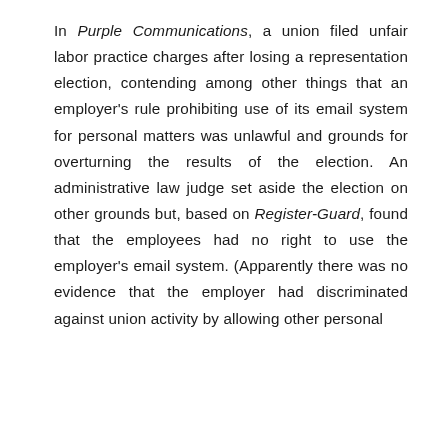In Purple Communications, a union filed unfair labor practice charges after losing a representation election, contending among other things that an employer's rule prohibiting use of its email system for personal matters was unlawful and grounds for overturning the results of the election. An administrative law judge set aside the election on other grounds but, based on Register-Guard, found that the employees had no right to use the employer's email system. (Apparently there was no evidence that the employer had discriminated against union activity by allowing other personal